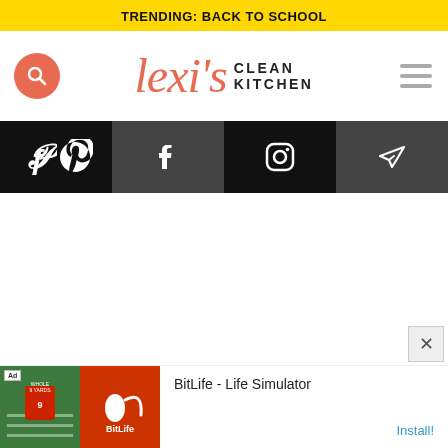TRENDING: BACK TO SCHOOL
[Figure (logo): Lexi's Clean Kitchen logo with search button and hamburger menu]
[Figure (infographic): Social media icon bar: Pinterest, Facebook, Instagram, Email/Send icons on black and dark gray background]
[Figure (screenshot): Advertisement for BitLife - Life Simulator app with Install button]